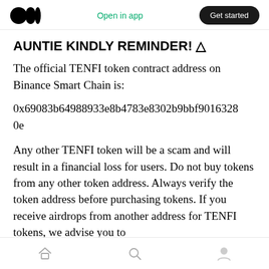Medium logo | Open in app | Get started
AUNTIE KINDLY REMINDER! △
The official TENFI token contract address on Binance Smart Chain is:
0x69083b64988933e8b4783e8302b9bbf901632800e
Any other TENFI token will be a scam and will result in a financial loss for users. Do not buy tokens from any other token address. Always verify the token address before purchasing tokens. If you receive airdrops from another address for TENFI tokens, we advise you to
Home | Search | Profile